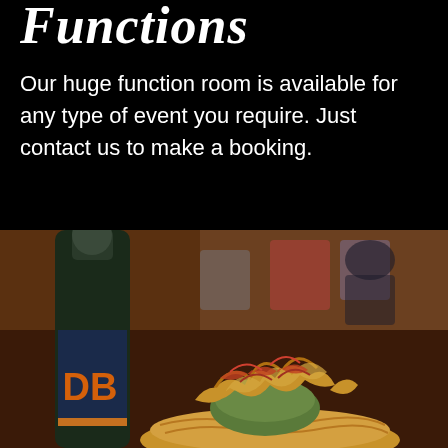Functions
Our huge function room is available for any type of event you require. Just contact us to make a booking.
[Figure (photo): Food photo showing a dish with curly fries drizzled with sauce, with a green item underneath, placed in front of a DB beer bottle in a bar setting with blurred background]